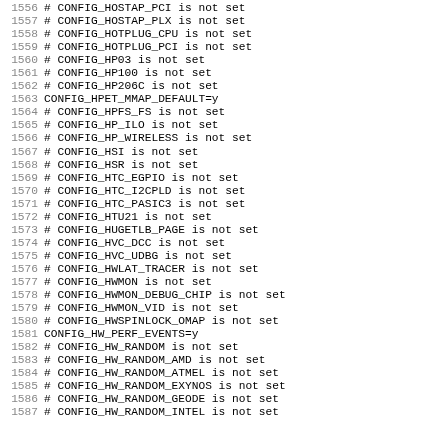1556 # CONFIG_HOSTAP_PCI is not set
1557 # CONFIG_HOSTAP_PLX is not set
1558 # CONFIG_HOTPLUG_CPU is not set
1559 # CONFIG_HOTPLUG_PCI is not set
1560 # CONFIG_HP03 is not set
1561 # CONFIG_HP100 is not set
1562 # CONFIG_HP206C is not set
1563 CONFIG_HPET_MMAP_DEFAULT=y
1564 # CONFIG_HPFS_FS is not set
1565 # CONFIG_HP_ILO is not set
1566 # CONFIG_HP_WIRELESS is not set
1567 # CONFIG_HSI is not set
1568 # CONFIG_HSR is not set
1569 # CONFIG_HTC_EGPIO is not set
1570 # CONFIG_HTC_I2CPLD is not set
1571 # CONFIG_HTC_PASIC3 is not set
1572 # CONFIG_HTU21 is not set
1573 # CONFIG_HUGETLB_PAGE is not set
1574 # CONFIG_HVC_DCC is not set
1575 # CONFIG_HVC_UDBG is not set
1576 # CONFIG_HWLAT_TRACER is not set
1577 # CONFIG_HWMON is not set
1578 # CONFIG_HWMON_DEBUG_CHIP is not set
1579 # CONFIG_HWMON_VID is not set
1580 # CONFIG_HWSPINLOCK_OMAP is not set
1581 CONFIG_HW_PERF_EVENTS=y
1582 # CONFIG_HW_RANDOM is not set
1583 # CONFIG_HW_RANDOM_AMD is not set
1584 # CONFIG_HW_RANDOM_ATMEL is not set
1585 # CONFIG_HW_RANDOM_EXYNOS is not set
1586 # CONFIG_HW_RANDOM_GEODE is not set
1587 # CONFIG_HW_RANDOM_INTEL is not set